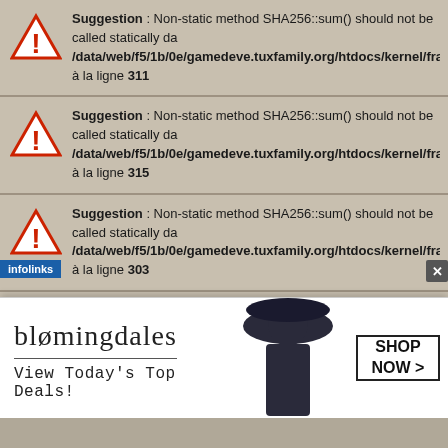Suggestion : Non-static method SHA256::sum() should not be called statically da /data/web/f5/1b/0e/gamedeve.tuxfamily.org/htdocs/kernel/framework/lib/sha2... à la ligne 311
Suggestion : Non-static method SHA256::sum() should not be called statically da /data/web/f5/1b/0e/gamedeve.tuxfamily.org/htdocs/kernel/framework/lib/sha2... à la ligne 315
Suggestion : Non-static method SHA256::sum() should not be called statically da /data/web/f5/1b/0e/gamedeve.tuxfamily.org/htdocs/kernel/framework/lib/sha2... à la ligne 303
Suggestion : Non-static method SHA256::sum() should not be called statically da /data/web/f5/1b/0e/gamedeve.tuxfamily.org/htdocs/kernel/framework/lib/sha2... à la ligne 306
Suggestion : Non-static method SHA256::sum() should not be called statically da ...
[Figure (screenshot): Bloomingdale's advertisement banner with model in hat, Shop Now button]